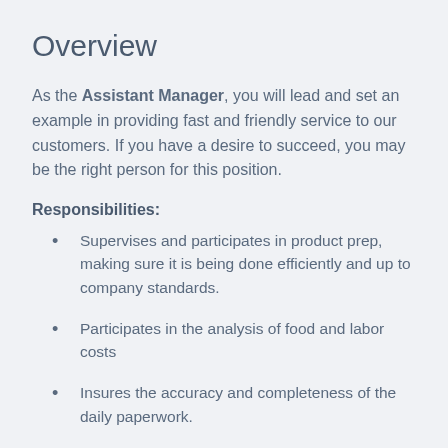Overview
As the Assistant Manager, you will lead and set an example in providing fast and friendly service to our customers. If you have a desire to succeed, you may be the right person for this position.
Responsibilities:
Supervises and participates in product prep, making sure it is being done efficiently and up to company standards.
Participates in the analysis of food and labor costs
Insures the accuracy and completeness of the daily paperwork.